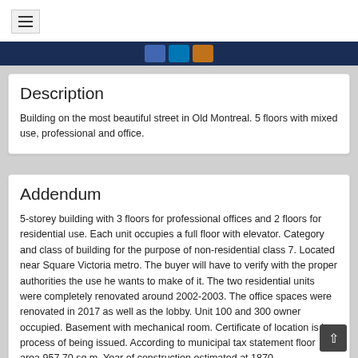≡ (hamburger menu)
Description
Building on the most beautiful street in Old Montreal. 5 floors with mixed use, professional and office.
Addendum
5-storey building with 3 floors for professional offices and 2 floors for residential use. Each unit occupies a full floor with elevator. Category and class of building for the purpose of non-residential class 7. Located near Square Victoria metro. The buyer will have to verify with the proper authorities the use he wants to make of it. The two residential units were completely renovated around 2002-2003. The office spaces were renovated in 2017 as well as the lobby. Unit 100 and 300 owner occupied. Basement with mechanical room. Certificate of location is in process of being issued. According to municipal tax statement floor area 957.70 sq.m. Year of construction estimated at 1870.
Sale without legal warranty of quality at the buyer's risk.
Sale without legal warranty of quality, at the buyer's risk.